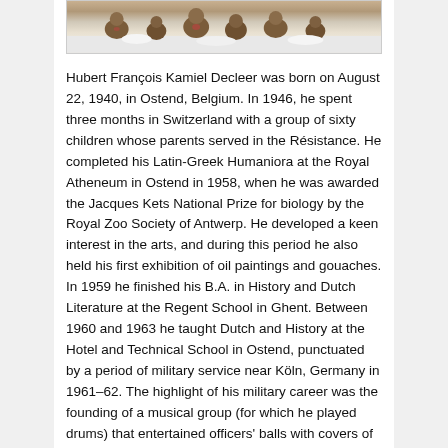[Figure (photo): Photograph of monkeys/macaques in a snowy outdoor setting, partially visible at top of page.]
Hubert François Kamiel Decleer was born on August 22, 1940, in Ostend, Belgium. In 1946, he spent three months in Switzerland with a group of sixty children whose parents served in the Résistance. He completed his Latin-Greek Humaniora at the Royal Atheneum in Ostend in 1958, when he was awarded the Jacques Kets National Prize for biology by the Royal Zoo Society of Antwerp. He developed a keen interest in the arts, and during this period he also held his first exhibition of oil paintings and gouaches. In 1959 he finished his B.A. in History and Dutch Literature at the Regent School in Ghent. Between 1960 and 1963 he taught Dutch and History at the Hotel and Technical School in Ostend, punctuated by a period of military service near Köln, Germany in 1961–62. The highlight of his military career was the founding of a musical group (for which he played drums) that entertained officers' balls with covers of Ray Charles and other hits of the day.